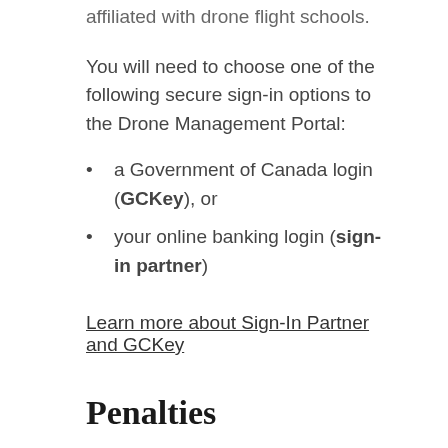affiliated with drone flight schools.
You will need to choose one of the following secure sign-in options to the Drone Management Portal:
a Government of Canada login (GCKey), or
your online banking login (sign-in partner)
Learn more about Sign-In Partner and GCKey
Penalties
If you fly a drone without meeting these requirements, you may be fined. Fines are:
$1,000 for recreational users
$5,000 for commercial users